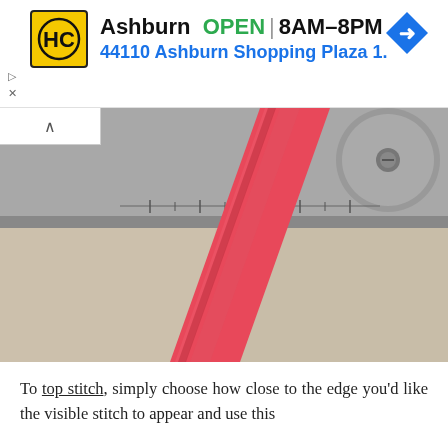[Figure (screenshot): Advertisement banner for Harvest Christian (HC) store in Ashburn showing OPEN 8AM–8PM and address 44110 Ashburn Shopping Plaza 1., with yellow HC logo and blue navigation arrow icon.]
[Figure (photo): Close-up photo of a red/pink fabric strip being sewn on a sewing machine, positioned diagonally across the frame with a silver sewing machine plate visible at the top.]
To top stitch, simply choose how close to the edge you'd like the visible stitch to appear and use this